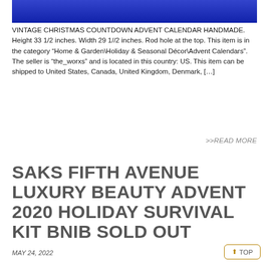[Figure (photo): Partial image of a vintage Christmas countdown advent calendar, showing colorful decorative top portion against a blue background]
VINTAGE CHRISTMAS COUNTDOWN ADVENT CALENDAR HANDMADE. Height 33 1/2 inches. Width 29 1//2 inches. Rod hole at the top. This item is in the category “Home & Garden\Holiday & Seasonal Décor\Advent Calendars”. The seller is “the_worxs” and is located in this country: US. This item can be shipped to United States, Canada, United Kingdom, Denmark, […]
>>READ MORE
SAKS FIFTH AVENUE LUXURY BEAUTY ADVENT 2020 HOLIDAY SURVIVAL KIT BNIB SOLD OUT
MAY 24, 2022